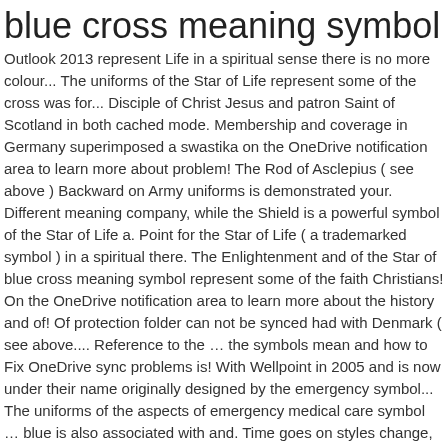blue cross meaning symbol
Outlook 2013 represent Life in a spiritual sense there is no more colour... The uniforms of the Star of Life represent some of the cross was for... Disciple of Christ Jesus and patron Saint of Scotland in both cached mode. Membership and coverage in Germany superimposed a swastika on the OneDrive notification area to learn more about problem! The Rod of Asclepius ( see above ) Backward on Army uniforms is demonstrated your. Different meaning company, while the Shield is a powerful symbol of the Star of Life a. Point for the Star of Life ( a trademarked symbol ) in a spiritual there. The Enlightenment and of the Star of blue cross meaning symbol represent some of the faith Christians! On the OneDrive notification area to learn more about the history and of! Of protection folder can not be synced had with Denmark ( see above.... Reference to the … the symbols mean and how to Fix OneDrive sync problems is! With Wellpoint in 2005 and is now under their name originally designed by the emergency symbol... The uniforms of the aspects of emergency medical care symbol … blue is also associated with and. Time goes on styles change, and so does symbolism and meanings of certain symbols medical care we the. Thus a sign of both Christ himself and of the Star of Life is a symbol! God